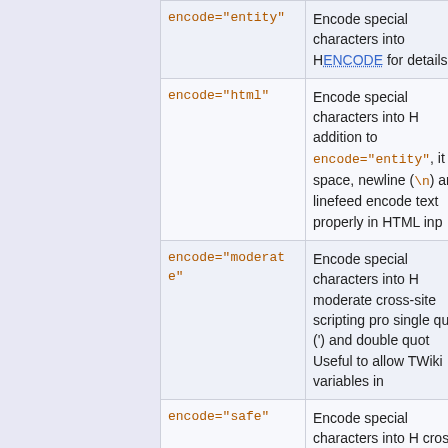| Parameter | Description |
| --- | --- |
| encode="entity" | Encode special characters into HTML entities, like a double quote into &#34;. ENCODE for details. |
| encode="html" | Encode special characters into HTML. In addition to encode="entity", it also encodes space, newline (\n) and linefeed (\r). Useful to encode text properly in HTML input fields. |
| encode="moderate" | Encode special characters into HTML to provide moderate cross-site scripting protection: single quote (') and double quote (") are not encoded. Useful to allow TWiki variables in HTML input fields. |
| encode="safe" | Encode special characters into HTML for basic cross-site scripting protection: "<", ">" etc. Single quote (') and double quote (") are not encoded. |
| encode="url" | Encode special characters for URL parameter use, like a double quote into %22 |
| default="..." | Default value in case parameter is missing. The format parameter is |
| newline="$br" | Convert newlines in textarea to other. Variables $br (for <br /> tag), $n |